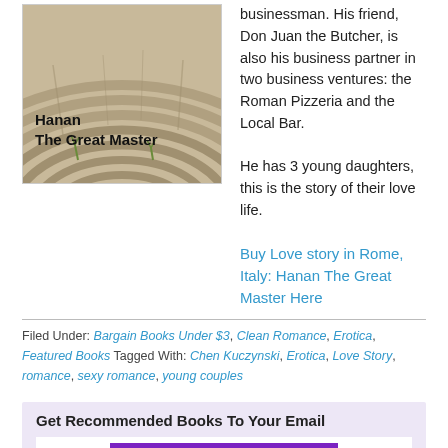[Figure (photo): Book cover image for 'Hanan The Great Master' showing ancient Roman amphitheater stone seating with the title overlaid in bold black text]
businessman. His friend, Don Juan the Butcher, is also his business partner in two business ventures: the Roman Pizzeria and the Local Bar.
He has 3 young daughters, this is the story of their love life.
Buy Love story in Rome, Italy: Hanan The Great Master Here
Filed Under: Bargain Books Under $3, Clean Romance, Erotica, Featured Books Tagged With: Chen Kuczynski, Erotica, Love Story, romance, sexy romance, young couples
Get Recommended Books To Your Email
[Figure (other): Purple promotional banner/button for email recommendations]